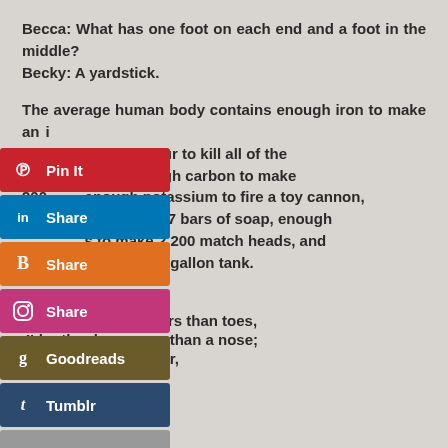Becca: What has one foot on each end and a foot in the middle?
Becky: A yardstick.
The average human body contains enough iron to make an inch nail, enough sulfur to kill all of the fleas on an average dog, enough carbon to make 900 pencils, enough potassium to fire a toy cannon, enough fat to make 7 bars of soap, enough phosphorus to make 2,200 match heads, and enough water to fill a ten-gallon tank.
A wellness poem
I'd rather have fingers than toes,
I'd rather have eyes than a nose;
And as for my hair,